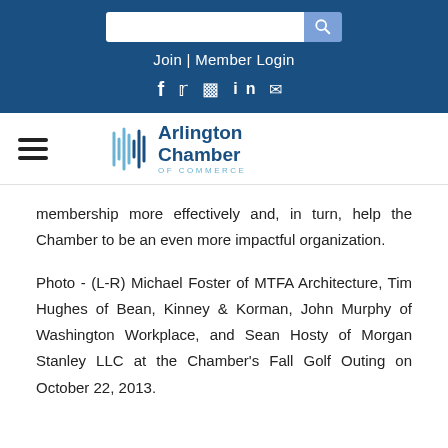Join | Member Login
[Figure (screenshot): Arlington Chamber of Commerce navigation bar with hamburger menu and logo]
membership more effectively and, in turn, help the Chamber to be an even more impactful organization.
Photo - (L-R) Michael Foster of MTFA Architecture, Tim Hughes of Bean, Kinney & Korman, John Murphy of Washington Workplace, and Sean Hosty of Morgan Stanley LLC at the Chamber's Fall Golf Outing on October 22, 2013.